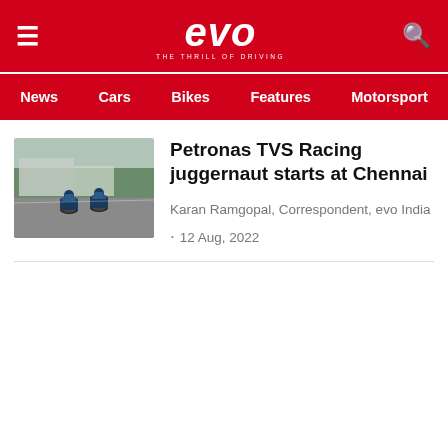evo — THE THRILL OF DRIVING
News | Cars | Bikes | Features | Motorsport
[Figure (photo): Two motorcycle racers on a circuit track, leaning into a corner]
Petronas TVS Racing juggernaut starts at Chennai
Karan Ramgopal, Correspondent, evo India
· 12 Aug, 2022